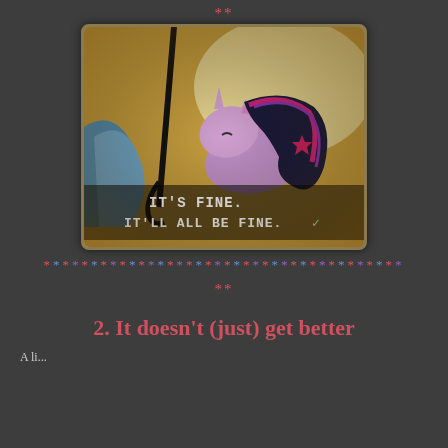**
[Figure (screenshot): Animated pony (Twilight Sparkle from My Little Pony) looking distressed, with subtitle text reading "IT'S FINE. IT'LL ALL BE FINE." The image has a golden/warm background with a teal shape on the left. The image has a vintage photo border style.]
* * * * * * * * * * * * * * * * * * * * * * * * * * * * * * * * * * * * *
**
2.  It doesn't (just) get better
A li...